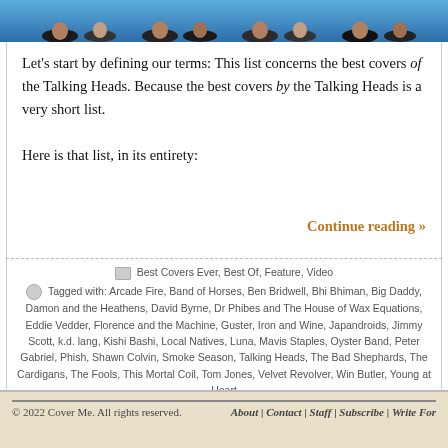[Figure (photo): Cropped photo showing feet/shoes of people standing, blue background]
Let's start by defining our terms: This list concerns the best covers of the Talking Heads. Because the best covers by the Talking Heads is a very short list.

Here is that list, in its entirety:
Continue reading »
Best Covers Ever, Best Of, Feature, Video
Tagged with: Arcade Fire, Band of Horses, Ben Bridwell, Bhi Bhiman, Big Daddy, Damon and the Heathens, David Byrne, Dr Phibes and The House of Wax Equations, Eddie Vedder, Florence and the Machine, Guster, Iron and Wine, Japandroids, Jimmy Scott, k.d. lang, Kishi Bashi, Local Natives, Luna, Mavis Staples, Oyster Band, Peter Gabriel, Phish, Shawn Colvin, Smoke Season, Talking Heads, The Bad Shephards, The Cardigans, The Fools, This Mortal Coil, Tom Jones, Velvet Revolver, Win Butler, Young at Heart
Older Entries
© 2022 Cover Me. All rights reserved.   About | Contact | Staff | Subscribe | Write For